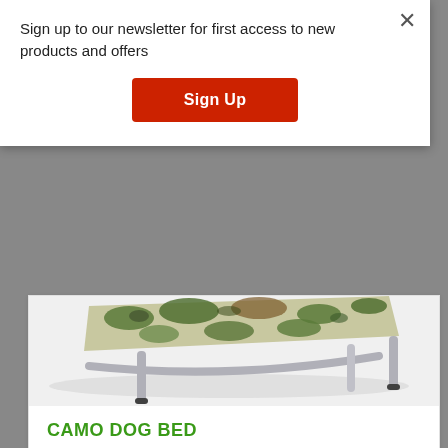Sign up to our newsletter for first access to new products and offers
Sign Up
[Figure (photo): Partial view of a camouflage dog bed with metal frame legs on a white/grey background]
CAMO DOG BED
PRICE: